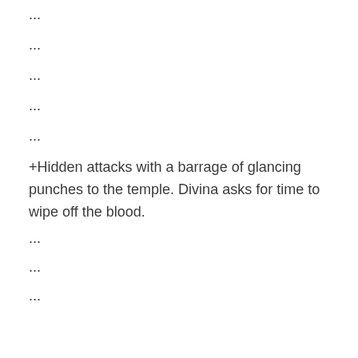...
...
...
...
...
+Hidden attacks with a barrage of glancing punches to the temple. Divina asks for time to wipe off the blood.
...
...
...
-Hidden launches a series of punches to the jaw, but Divina blocks.
...
...
...
...
...
BELL